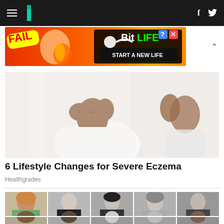HuffPost navigation bar with hamburger menu, logo, Facebook and Twitter icons
[Figure (screenshot): BitLife advertisement banner: FAIL text with cartoon character on fire, BitLife logo with question mark and X icons, START A NEW LIFE text on black background]
[Figure (photo): Woman in white top examining her face in a mirror, touching her chin, smiling — article photo for eczema lifestyle changes story]
6 Lifestyle Changes for Severe Eczema
Healthgrades
[Figure (photo): Grid of vintage black and white and color yearbook-style portrait photos showing various people from different eras]